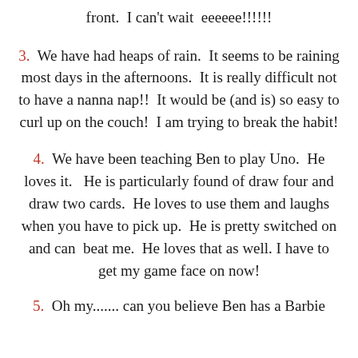front.  I can't wait  eeeeee!!!!!!
3.  We have had heaps of rain.  It seems to be raining most days in the afternoons.  It is really difficult not to have a nanna nap!!  It would be (and is) so easy to curl up on the couch!  I am trying to break the habit!
4.  We have been teaching Ben to play Uno.  He loves it.   He is particularly found of draw four and draw two cards.  He loves to use them and laughs when you have to pick up.  He is pretty switched on and can  beat me.  He loves that as well. I have to get my game face on now!
5.  Oh my....... can you believe Ben has a Barbie